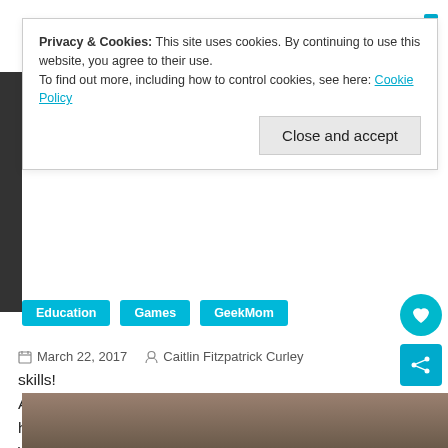Privacy & Cookies: This site uses cookies. By continuing to use this website, you agree to their use.
To find out more, including how to control cookies, see here: Cookie Policy
Close and accept
Education  Games  GeekMom
March 22, 2017   Caitlin Fitzpatrick Curley
As a homeschooling mom to three busy little children, I rely heavily on games as a way to practice skills and have fun. When I heard about ThinkFun's Spin-a-Roo, I had to check it out! I am always on the hunt for games that work on those all-important math and STEM skills!